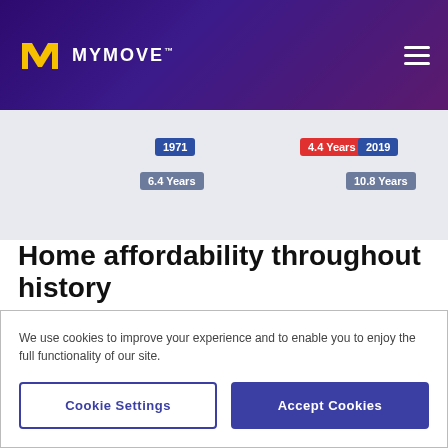MYMOVE
[Figure (infographic): Partial chart snippet showing year labels 1971 with '6.4 Years' below, '4.4 Years' highlighted in red in the center, and 2019 with '10.8 Years' below, on a light blue-gray background.]
Home affordability throughout history
We also decided to look at affordability throughout history, to see how it compares to today.
We use cookies to improve your experience and to enable you to enjoy the full functionality of our site.